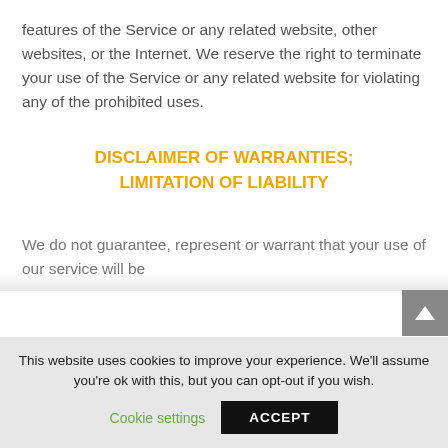features of the Service or any related website, other websites, or the Internet. We reserve the right to terminate your use of the Service or any related website for violating any of the prohibited uses.
DISCLAIMER OF WARRANTIES; LIMITATION OF LIABILITY
We do not guarantee, represent or warrant that your use of our service will be
This website uses cookies to improve your experience. We'll assume you're ok with this, but you can opt-out if you wish.